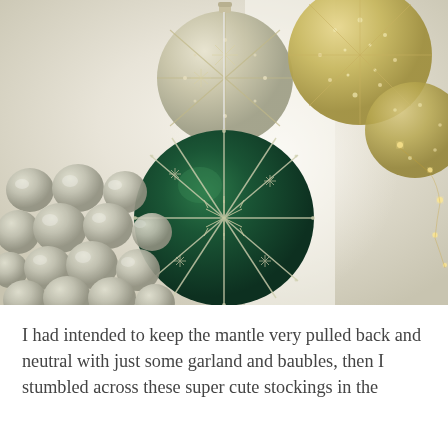[Figure (photo): Close-up photograph of decorative Christmas ornaments: a large dark green glass ball with silver glitter snowflake/star pattern hanging in the center, a silver/gold lattice ornament at top center, gold glittery ornaments at top right with fairy lights, a cluster of small silver mercury-glass balls at bottom left, all against a bright white/cream background with warm bokeh lighting.]
I had intended to keep the mantle very pulled back and neutral with just some garland and baubles, then I stumbled across these super cute stockings in the